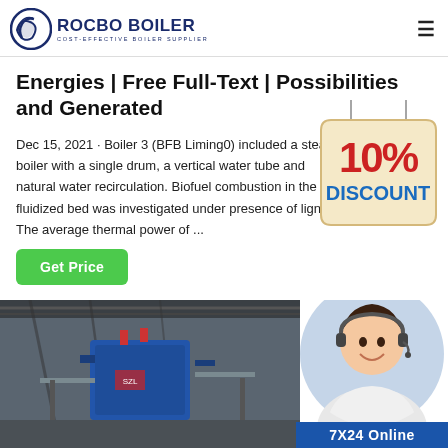ROCBO BOILER | COST-EFFECTIVE BOILER SUPPLIER
Energies | Free Full-Text | Possibilities and Generated
Dec 15, 2021 · Boiler 3 (BFB Liming0) included a steam boiler with a single drum, a vertical water tube and natural water recirculation. Biofuel combustion in the fluidized bed was investigated under presence of lignin. The average thermal power of ...
Get Price
[Figure (photo): 10% Discount badge/sticker with red text '10%' and blue text 'DISCOUNT']
[Figure (photo): Industrial boiler facility interior with blue boiler equipment visible]
[Figure (photo): Female customer service agent wearing headset, smiling]
7X24 Online